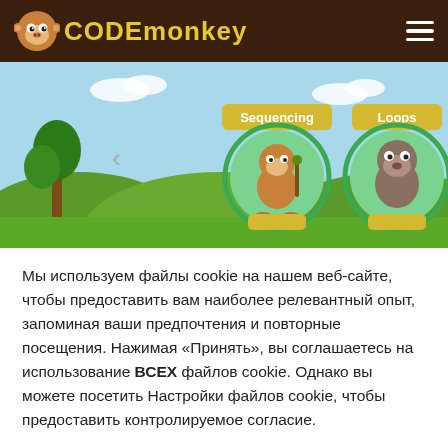CodeMonkey
[Figure (illustration): CodeMonkey game screenshot showing characters in a nature scene. Left circle has 'Sequencing' label with a monkey character holding a stick; right circle has 'Loops' label with a brown animal character. Background shows green hills, trees, and blue sky with clouds.]
Мы используем файлы cookie на нашем веб-сайте, чтобы предоставить вам наиболее релевантный опыт, запоминая ваши предпочтения и повторные посещения. Нажимая «Принять», вы соглашаетесь на использование ВСЕХ файлов cookie. Однако вы можете посетить Настройки файлов cookie, чтобы предоставить контролируемое согласие.
Cookie settings
ACCEPT